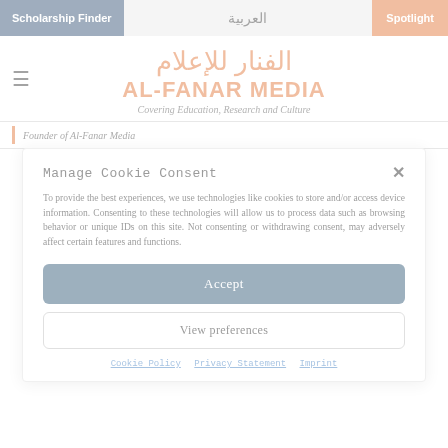Scholarship Finder | العربية | Spotlight
الفنار للإعلام
AL-FANAR MEDIA
Covering Education, Research and Culture
Founder of Al-Fanar Media
Manage Cookie Consent
To provide the best experiences, we use technologies like cookies to store and/or access device information. Consenting to these technologies will allow us to process data such as browsing behavior or unique IDs on this site. Not consenting or withdrawing consent, may adversely affect certain features and functions.
Accept
View preferences
Cookie Policy  Privacy Statement  Imprint